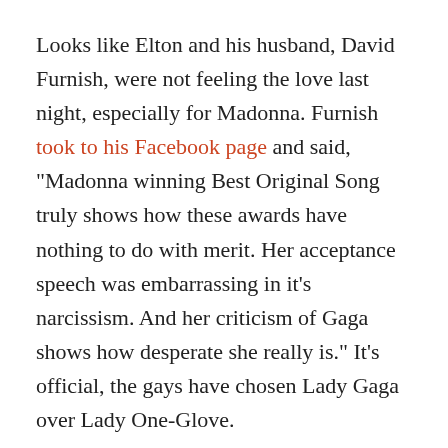Looks like Elton and his husband, David Furnish, were not feeling the love last night, especially for Madonna. Furnish took to his Facebook page and said, "Madonna winning Best Original Song truly shows how these awards have nothing to do with merit. Her acceptance speech was embarrassing in it's narcissism. And her criticism of Gaga shows how desperate she really is." It's official, the gays have chosen Lady Gaga over Lady One-Glove.
Apparently John was already talking shit about Madonna on the red carpet before the awards started. Madonna, smartly, isn't trying to return barbs. "He's known to get mad at me, [but] he'll win another award. I don't feel bad," she said right after her win. Yes, just based on the